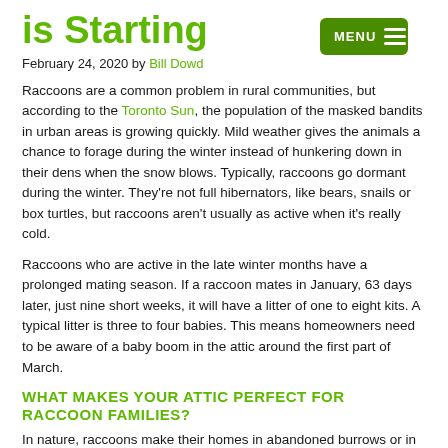is Starting
February 24, 2020 by Bill Dowd
Raccoons are a common problem in rural communities, but according to the Toronto Sun, the population of the masked bandits in urban areas is growing quickly. Mild weather gives the animals a chance to forage during the winter instead of hunkering down in their dens when the snow blows. Typically, raccoons go dormant during the winter. They're not full hibernators, like bears, snails or box turtles, but raccoons aren't usually as active when it's really cold.
Raccoons who are active in the late winter months have a prolonged mating season. If a raccoon mates in January, 63 days later, just nine short weeks, it will have a litter of one to eight kits. A typical litter is three to four babies. This means homeowners need to be aware of a baby boom in the attic around the first part of March.
WHAT MAKES YOUR ATTIC PERFECT FOR RACCOON FAMILIES?
In nature, raccoons make their homes in abandoned burrows or in hollow trees. Urban areas don't have natural habitats, so mother